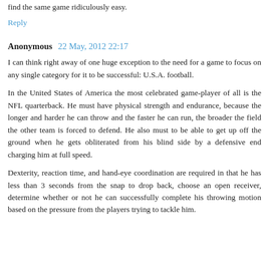find the same game ridiculously easy.
Reply
Anonymous  22 May, 2012 22:17
I can think right away of one huge exception to the need for a game to focus on any single category for it to be successful: U.S.A. football.
In the United States of America the most celebrated game-player of all is the NFL quarterback. He must have physical strength and endurance, because the longer and harder he can throw and the faster he can run, the broader the field the other team is forced to defend. He also must to be able to get up off the ground when he gets obliterated from his blind side by a defensive end charging him at full speed.
Dexterity, reaction time, and hand-eye coordination are required in that he has less than 3 seconds from the snap to drop back, choose an open receiver, determine whether or not he can successfully complete his throwing motion based on the pressure from the players trying to tackle him.